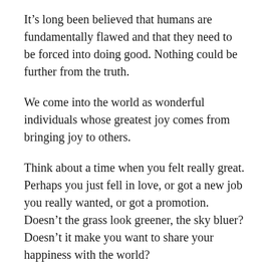It’s long been believed that humans are fundamentally flawed and that they need to be forced into doing good. Nothing could be further from the truth.
We come into the world as wonderful individuals whose greatest joy comes from bringing joy to others.
Think about a time when you felt really great. Perhaps you just fell in love, or got a new job you really wanted, or got a promotion. Doesn’t the grass look greener, the sky bluer? Doesn’t it make you want to share your happiness with the world?